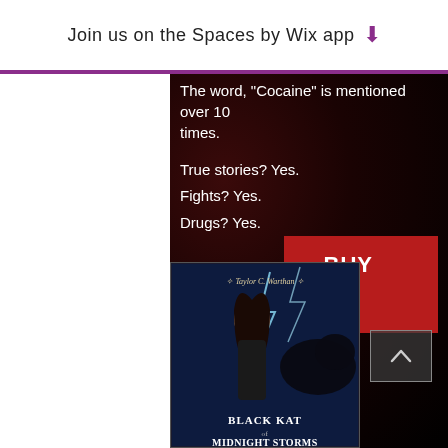Join us on the Spaces by Wix app ⬇
The word, "Cocaine" is mentioned over 10 times.
True stories? Yes.
Fights? Yes.
Drugs? Yes.
Sex? Yes.
[Figure (other): BUY IT button — red rectangle with white bold text]
[Figure (photo): Book cover for 'Black Kat of Midnight Storms' by Taylor C. Warthan, featuring a young dark-haired woman in black with a panther and lightning behind her]